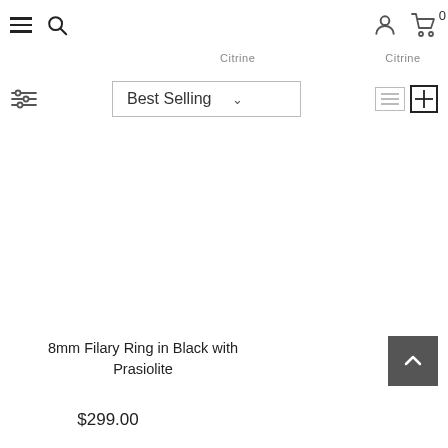Navigation header with hamburger menu, search icon, user icon, and cart (0)
Citrine    Citrine
[Figure (screenshot): Toolbar with filter/sort controls: filter sliders icon on left, 'Best Selling' dropdown in center, list and grid view icons on right]
8mm Filary Ring in Black with Prasiolite
$299.00